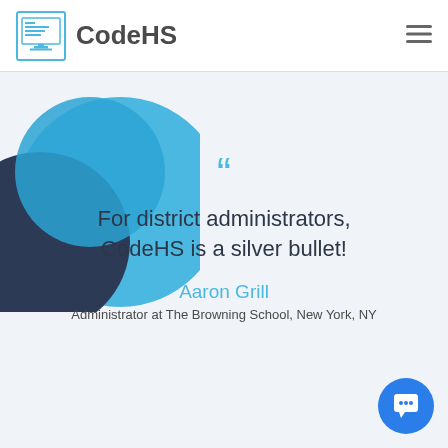CodeHS
[Figure (illustration): Decorative abstract circles in blue and dark navy, overlapping, positioned at top-left of the content area]
““
For district administrators, CodeHS is a silver bullet!
Aaron Grill
Administrator at The Browning School, New York, NY
[Figure (illustration): Blue circular chat/support button with a chat bubble icon, bottom-right corner]